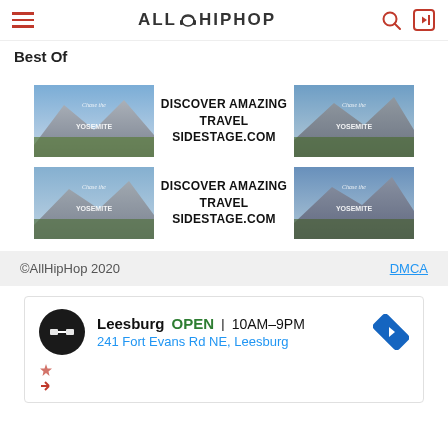AllHipHop — Best Of
Best Of
[Figure (infographic): Advertisement banner: Yosemite thumbnail left, DISCOVER AMAZING TRAVEL SIDESTAGE.COM text center, Yosemite thumbnail right (row 1)]
[Figure (infographic): Advertisement banner: Yosemite thumbnail left, DISCOVER AMAZING TRAVEL SIDESTAGE.COM text center, Yosemite thumbnail right (row 2)]
©AllHipHop 2020   DMCA
[Figure (infographic): Google ad: Leesburg OPEN 10AM-9PM, 241 Fort Evans Rd NE, Leesburg]